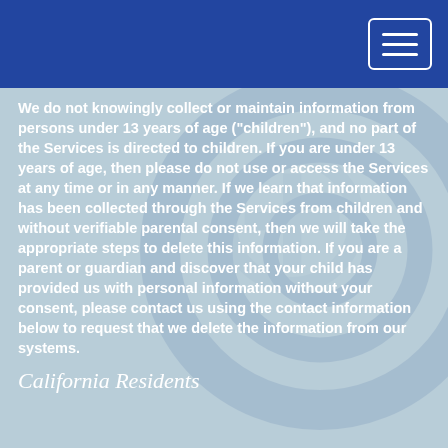We do not knowingly collect or maintain information from persons under 13 years of age ("children"), and no part of the Services is directed to children. If you are under 13 years of age, then please do not use or access the Services at any time or in any manner. If we learn that information has been collected through the Services from children and without verifiable parental consent, then we will take the appropriate steps to delete this information. If you are a parent or guardian and discover that your child has provided us with personal information without your consent, please contact us using the contact information below to request that we delete the information from our systems.
California Residents